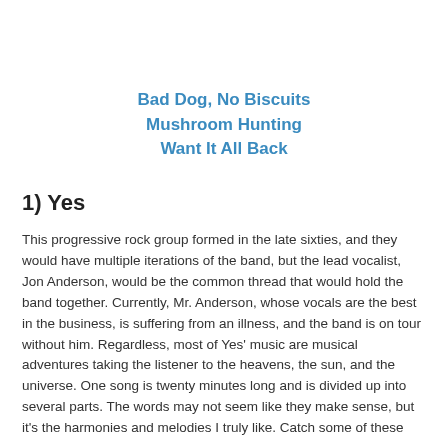Bad Dog, No Biscuits
Mushroom Hunting
Want It All Back
1) Yes
This progressive rock group formed in the late sixties, and they would have multiple iterations of the band, but the lead vocalist, Jon Anderson, would be the common thread that would hold the band together. Currently, Mr. Anderson, whose vocals are the best in the business, is suffering from an illness, and the band is on tour without him. Regardless, most of Yes' music are musical adventures taking the listener to the heavens, the sun, and the universe. One song is twenty minutes long and is divided up into several parts. The words may not seem like they make sense, but it's the harmonies and melodies I truly like. Catch some of these